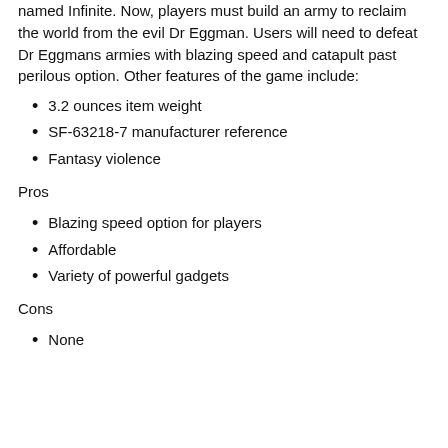named Infinite. Now, players must build an army to reclaim the world from the evil Dr Eggman. Users will need to defeat Dr Eggmans armies with blazing speed and catapult past perilous option. Other features of the game include:
3.2 ounces item weight
SF-63218-7 manufacturer reference
Fantasy violence
Pros
Blazing speed option for players
Affordable
Variety of powerful gadgets
Cons
None